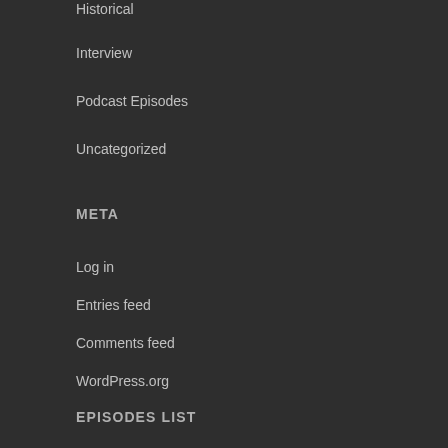Historical
Interview
Podcast Episodes
Uncategorized
META
Log in
Entries feed
Comments feed
WordPress.org
EPISODES LIST
DNA Podcast 134 – Brainstorming a Caravan Guards Story Setting July 1, 2022
DNA Podcast 133 – Malls in Popular Culture June 1, 2022